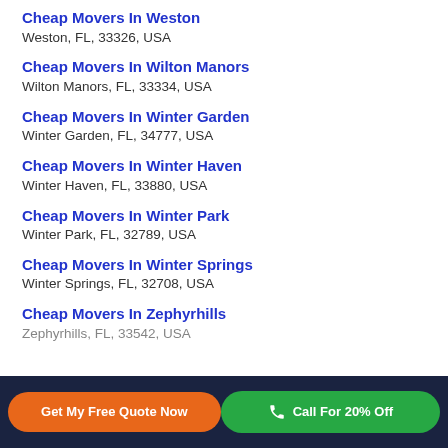Cheap Movers In Weston
Weston, FL, 33326, USA
Cheap Movers In Wilton Manors
Wilton Manors, FL, 33334, USA
Cheap Movers In Winter Garden
Winter Garden, FL, 34777, USA
Cheap Movers In Winter Haven
Winter Haven, FL, 33880, USA
Cheap Movers In Winter Park
Winter Park, FL, 32789, USA
Cheap Movers In Winter Springs
Winter Springs, FL, 32708, USA
Cheap Movers In Zephyrhills
Zephyrhills, FL, ...
Get My Free Quote Now | Call For 20% Off